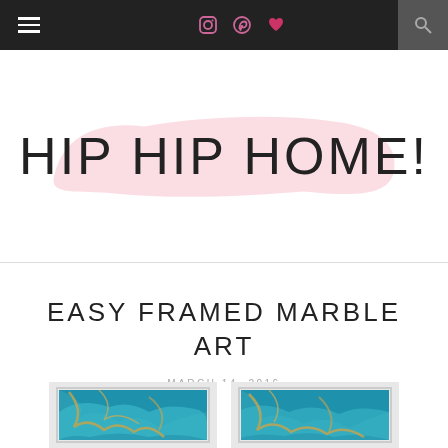HIP HIP HOME! navigation bar with menu icon, social icons (Instagram, Pinterest, heart), and search
HIP HIP HOME!
EASY FRAMED MARBLE ART
MARCH 14, 2016
[Figure (photo): Two framed blue and gold marble art pieces displayed side by side]